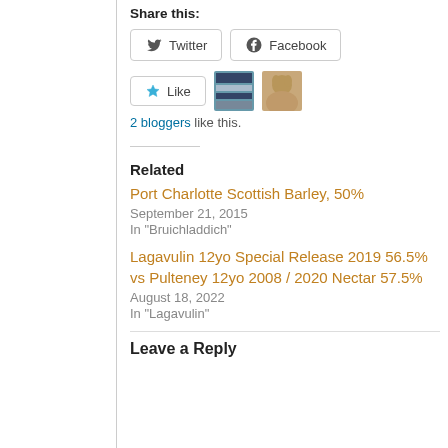Share this:
Twitter  Facebook
Like
2 bloggers like this.
Related
Port Charlotte Scottish Barley, 50%
September 21, 2015
In "Bruichladdich"
Lagavulin 12yo Special Release 2019 56.5% vs Pulteney 12yo 2008 / 2020 Nectar 57.5%
August 18, 2022
In "Lagavulin"
Leave a Reply